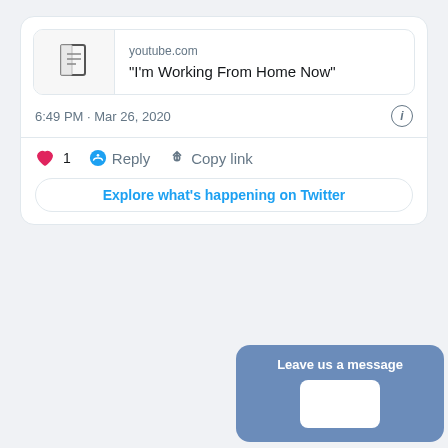[Figure (screenshot): Twitter/social media embedded tweet card showing a YouTube link preview for 'I'm Working From Home Now' from youtube.com, dated 6:49 PM · Mar 26, 2020, with 1 like, Reply and Copy link actions, and an 'Explore what's happening on Twitter' button]
[Figure (screenshot): Twitter tweet by Mark Agnew (@mark_agnew) replying to @FITTNews, text begins: A5: the resources that FITT h... online are top-notch for #cd... digestible but substantive ta... affecting them. @CdnCham... will be launching a dedicated micro-site next week with lots of resources. Watch. With a 'Leave us a message' overlay chat widget in the bottom right corner.]